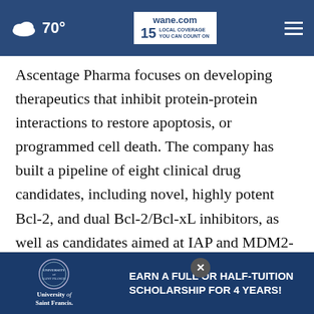70° | wane.com 15 LOCAL COVERAGE YOU CAN COUNT ON
Ascentage Pharma focuses on developing therapeutics that inhibit protein-protein interactions to restore apoptosis, or programmed cell death. The company has built a pipeline of eight clinical drug candidates, including novel, highly potent Bcl-2, and dual Bcl-2/Bcl-xL inhibitors, as well as candidates aimed at IAP and MDM2-p53 pathways, and next-generation tyrosine kinase inhibitors (TKIs). Ascentage Pharma is also the comp
[Figure (screenshot): University of Saint Francis advertisement banner: EARN A FULL OR HALF-TUITION SCHOLARSHIP FOR 4 YEARS!]